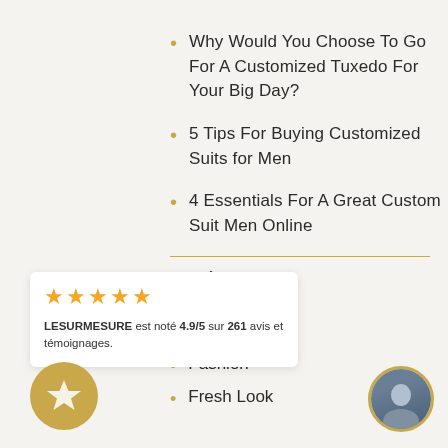Why Would You Choose To Go For A Customized Tuxedo For Your Big Day?
5 Tips For Buying Customized Suits for Men
4 Essentials For A Great Custom Suit Men Online
CATÉGORIES
…Blog
Details
Fashion
Fresh Look
LESURMESURE est noté 4.9/5 sur 261 avis et témoignages.
[Figure (illustration): Gold star badge circle icon]
[Figure (photo): Circular avatar photo of a man]